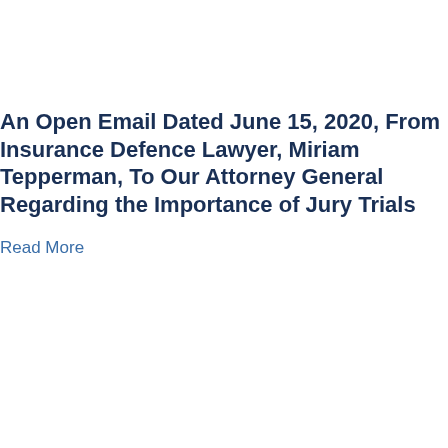An Open Email Dated June 15, 2020, From Insurance Defence Lawyer, Miriam Tepperman, To Our Attorney General Regarding the Importance of Jury Trials
Read More